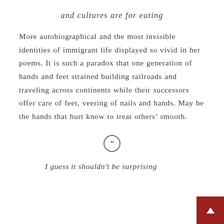and cultures are for eating
More autobiographical and the most invisible identities of immigrant life displayed so vivid in her poems. It is such a paradox that one generation of hands and feet strained building railroads and traveling across continents while their successors offer care of feet, veering of nails and hands. May be the hands that hurt know to treat others’ smooth.
[Figure (other): Closing quotation mark symbol inside a circle]
I guess it shouldn’t be surprising